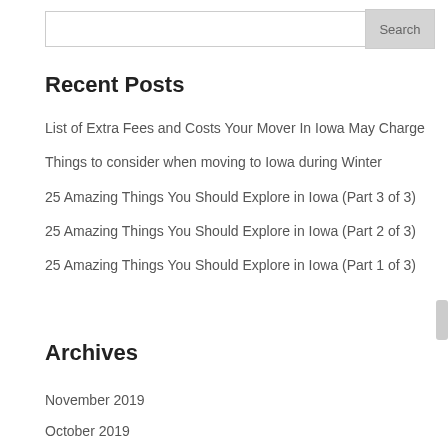Search
Recent Posts
List of Extra Fees and Costs Your Mover In Iowa May Charge
Things to consider when moving to Iowa during Winter
25 Amazing Things You Should Explore in Iowa (Part 3 of 3)
25 Amazing Things You Should Explore in Iowa (Part 2 of 3)
25 Amazing Things You Should Explore in Iowa (Part 1 of 3)
Archives
November 2019
October 2019